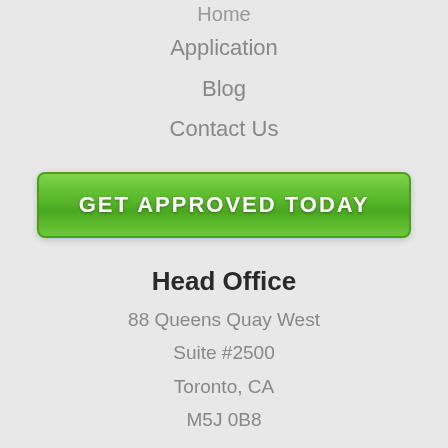Home
Application
Blog
Contact Us
[Figure (other): Green button with text GET APPROVED TODAY]
Head Office
88 Queens Quay West
Suite #2500
Toronto, CA
M5J 0B8
Contact Us
info@carloansfastinc.ca